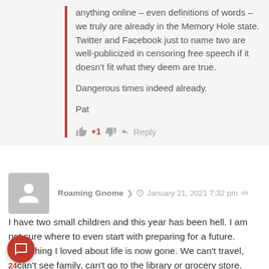anything online – even definitions of words – we truly are already in the Memory Hole state. Twitter and Facebook just to name two are well-publicized in censoring free speech if it doesn't fit what they deem are true.

Dangerous times indeed already.

Pat
+1  Reply
Roaming Gnome  January 21, 2021 7:32 pm
I have two small children and this year has been hell. I am not sure where to even start with preparing for a future. Everything I loved about life is now gone. We can't travel, can't see family, can't go to the library or grocery store. Anywhere we go is an endless stream of masks and blind compliance and next will be forced vaccines.